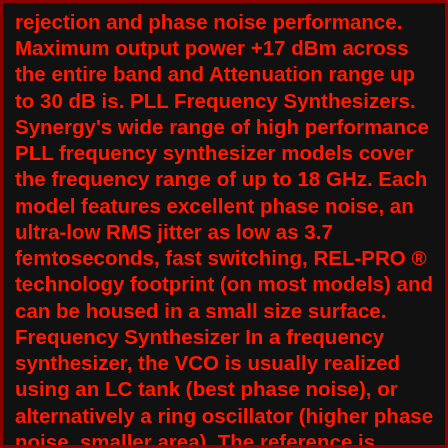rejection and phase noise performance. Maximum output power +17 dBm across the entire band and Attenuation range up to 30 dB is. PLL Frequency Synthesizers. Synergy's wide range of high performance PLL frequency synthesizer models cover the frequency range of up to 18 GHz. Each model features excellent phase noise, an ultra-low RMS jitter as low as 3.7 femtoseconds, fast switching, REL-PRO ® technology footprint (on most models) and can be housed in a small size surface. Frequency Synthesizer In a frequency synthesizer, the VCO is usually realized using an LC tank (best phase noise), or alternatively a ring oscillator (higher phase noise, smaller area). The reference is derived from a precision XTAL oscillator. The divider brings down the high frequency of the VCO signal to the range of the reference frequency. Clock/Timing - Clock Generators, PLLs, Frequency Synthesizers are in stock at DigiKey. Order Now! Integrated Circuits (ICs) ship same day ... 24-SMD Module : 24-MCM (4x4) ADF4002BCPZ-RL7. IC PLL FREQUENCY SYNTH 20-LFCSP. $5.39000. 16,106 - Immediate. Active. Pricing and ...